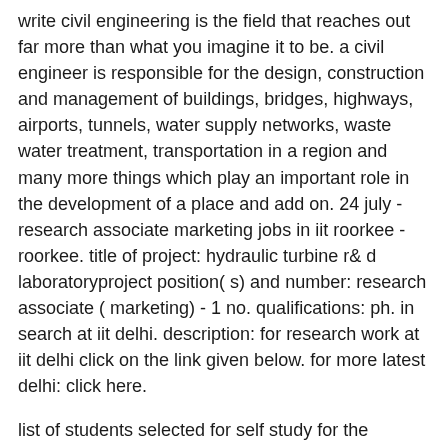write civil engineering is the field that reaches out far more than what you imagine it to be. a civil engineer is responsible for the design, construction and management of buildings, bridges, highways, airports, tunnels, water supply networks, waste water treatment, transportation in a region and many more things which play an important role in the development of a place and add on. 24 july - research associate marketing jobs in iit roorkee - roorkee. title of project: hydraulic turbine r& d laboratoryproject position( s) and number: research associate ( marketing) - 1 no. qualifications: ph. in search at iit delhi. description: for research work at iit delhi click on the link given below. for more latest delhi: click here.
list of students selected for self study for the academic yeariit delhi has decided not to increase any fees for students during academic yearin view of covid- 19 outbreak covid- 19 updates for iitd community sfrf-. this letter from hod, civil engineering department, iit bombay should be read in conjunction with the call letter that you have received from our academic office. best website that writes essays for you. all the candidates